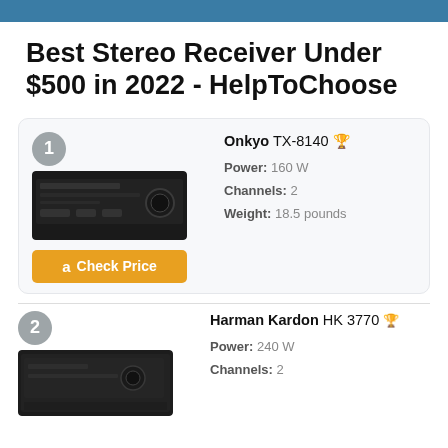HelpToChoose navigation bar
Best Stereo Receiver Under $500 in 2022 - HelpToChoose
1. Onkyo TX-8140 | Power: 160 W | Channels: 2 | Weight: 18.5 pounds | Check Price
2. Harman Kardon HK 3770 | Power: 240 W | Channels: 2